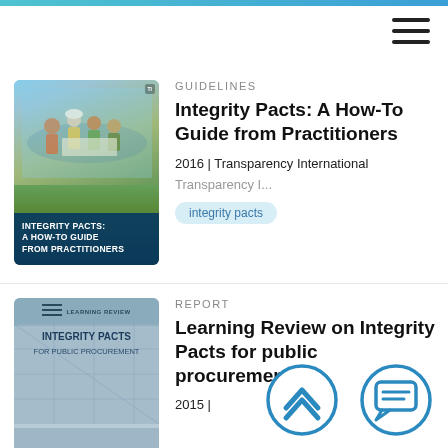[Figure (screenshot): Mobile app screenshot showing top navigation bar with blue gradient and hamburger menu icon]
GUIDELINES
[Figure (photo): Book cover: Integrity Pacts: A How-To Guide from Practitioners - shows women in construction site looking at plans, dark blue text box at bottom]
Integrity Pacts: A How-To Guide from Practitioners
2016 | Transparency International
Transparency I...
integrity pacts
REPORT
[Figure (photo): Book cover: Learning Review on Integrity Pacts for public procurement - gray/blue architectural background with title text]
Learning Review on Integrity Pacts for public procurement
2015 |